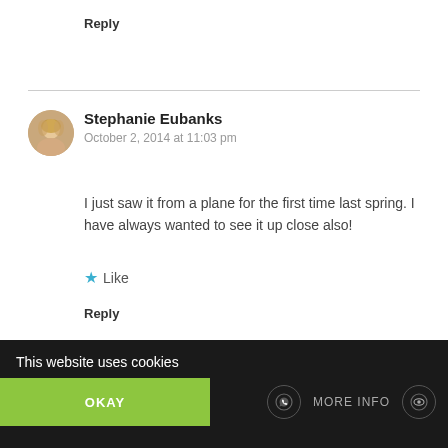Reply
[Figure (photo): Circular avatar photo of Stephanie Eubanks, a woman with blonde hair]
Stephanie Eubanks
October 2, 2014 at 11:03 pm
I just saw it from a plane for the first time last spring. I have always wanted to see it up close also!
Like
Reply
This website uses cookies
OKAY
MORE INFO